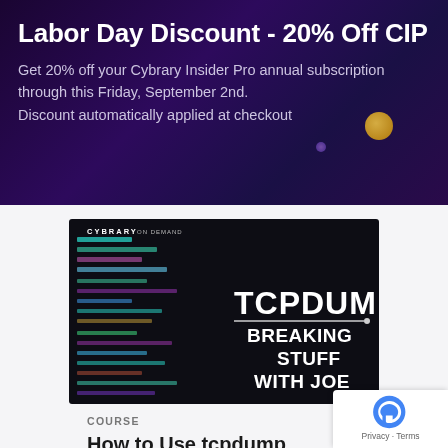Labor Day Discount - 20% Off CIP
Get 20% off your Cybrary Insider Pro annual subscription through this Friday, September 2nd.
Discount automatically applied at checkout
[Figure (screenshot): Cybrary On Demand course thumbnail showing dark background with colorful code text and white text reading 'TCPDUMP' and 'BREAKING STUFF WITH JOE']
COURSE
How to Use tcpdump (BSWJ)
4.83 ★ ★ ★ ★ ★ (6)
TCPDump is one of the best light-weight utilities for performing network traffic capture. It's extremely ...